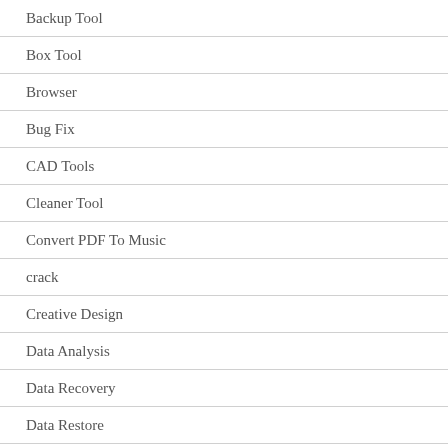Backup Tool
Box Tool
Browser
Bug Fix
CAD Tools
Cleaner Tool
Convert PDF To Music
crack
Creative Design
Data Analysis
Data Recovery
Data Restore
Data Saver
Database Software